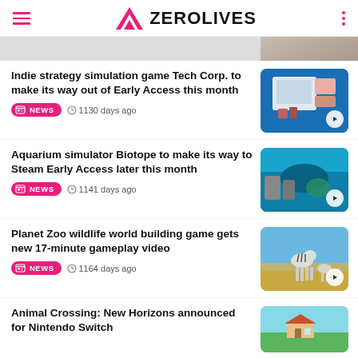ZEROLIVES
Indie strategy simulation game Tech Corp. to make its way out of Early Access this month
NEWS · 1130 days ago
Aquarium simulator Biotope to make its way to Steam Early Access later this month
NEWS · 1141 days ago
Planet Zoo wildlife world building game gets new 17-minute gameplay video
NEWS · 1164 days ago
Animal Crossing: New Horizons announced for Nintendo Switch